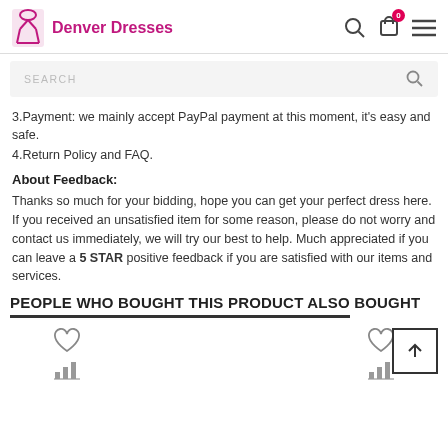Denver Dresses
3.Payment: we mainly accept PayPal payment at this moment, it's easy and safe.
4.Return Policy and FAQ.
About Feedback:
Thanks so much for your bidding, hope you can get your perfect dress here. If you received an unsatisfied item for some reason, please do not worry and contact us immediately, we will try our best to help. Much appreciated if you can leave a 5 STAR positive feedback if you are satisfied with our items and services.
PEOPLE WHO BOUGHT THIS PRODUCT ALSO BOUGHT
[Figure (illustration): Two product placeholder items with heart icons and bar chart icons below]